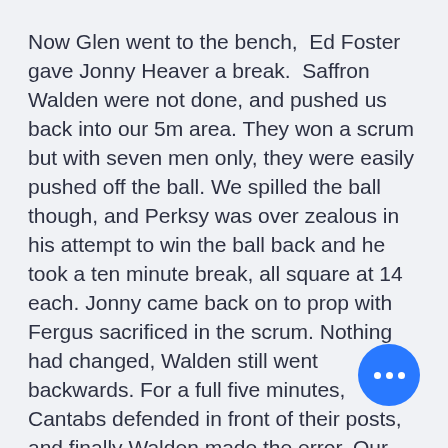Now Glen went to the bench,  Ed Foster gave Jonny Heaver a break.  Saffron Walden were not done, and pushed us back into our 5m area. They won a scrum but with seven men only, they were easily pushed off the ball. We spilled the ball though, and Perksy was over zealous in his attempt to win the ball back and he took a ten minute break, all square at 14 each. Jonny came back on to prop with Fergus sacrificed in the scrum. Nothing had changed, Walden still went backwards. For a full five minutes, Cantabs defended in front of their posts, and finally Walden made the error. Our scrum did the job, drew the penalty and Cantabs cleared up to the 10m line with a kick from Alan. Francois broke clear, Finn rampaged, Cantabs were now dominant again. C... support play was exemplary, and when his
[Figure (other): Blue circular floating action button with three white dots (ellipsis/more options icon)]